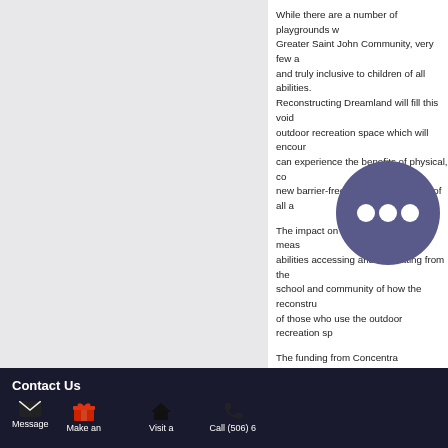While there are a number of playgrounds within the Greater Saint John Community, very few are accessible and truly inclusive to children of all abilities. Reconstructing Dreamland will fill this void by creating an outdoor recreation space which will encourage all kids can experience the benefits of physical, cognitive and new barrier-free playground for kids of all a...
The impact on the community will be measured by the abilities accessing and benefitting from the space, the school and community of how the reconstruction has of those who use the outdoor recreation sp...
The funding from Concentra Empowering Y... helping create a brand-new, inclusive, multi... at Fairvale Elementary School as well as a... regularly use the playground on evenings, ... Based on research and conversations with ... fundraising goal of approximately $700,00... hundreds of families from Hampton to Gra... rich in physical literacy where kids of all ab... most important work – play!
Click here to see a list of all the Concentra...
[Figure (illustration): Purple circular chat bubble icon]
Contact Us | Message | Make an | Visit a | Call (506) 6...